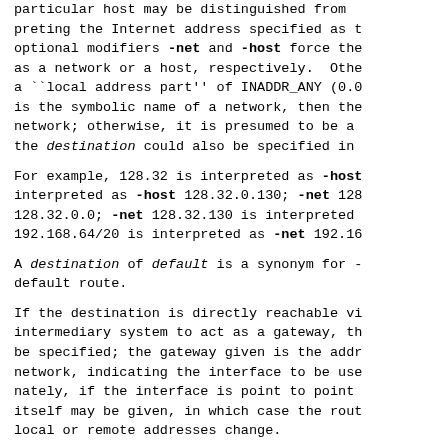particular host may be distinguished from preting the Internet address specified as t optional modifiers -net and -host force the as a network or a host, respectively. Othe a ``local address part'' of INADDR_ANY (0.0 is the symbolic name of a network, then the network; otherwise, it is presumed to be a the destination could also be specified in
For example, 128.32 is interpreted as -host interpreted as -host 128.32.0.130; -net 128 128.32.0.0; -net 128.32.130 is interpreted 192.168.64/20 is interpreted as -net 192.16
A destination of default is a synonym for - default route.
If the destination is directly reachable vi intermediary system to act as a gateway, th be specified; the gateway given is the addr network, indicating the interface to be use nately, if the interface is point to point itself may be given, in which case the rout local or remote addresses change.
For AF_INET and AF_INET6, the -ifscope modi property of the route related to the interf face boundif. Such property allows for the entries with the same destination, where ea unique interface. This modifier is require entries marked with the RTF_IFSCOPE flag.
The optional modifier -link specify that al specified as link-level addresses, and the cations rather than symbolic names.